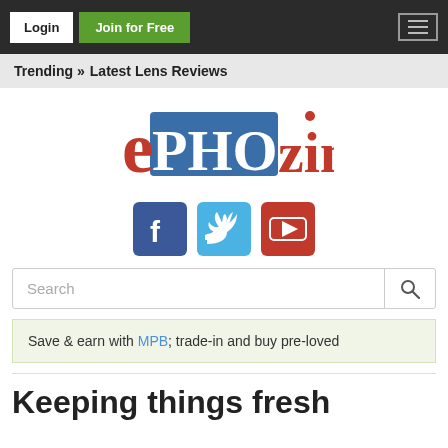Login | Join for Free | [hamburger menu]
Trending » Latest Lens Reviews
[Figure (logo): ePHOTOzine logo — 'e' in red serif, 'PHOTO' in white on blue background, 'zine' in red serif]
[Figure (infographic): Social media icons: Facebook (dark blue), Twitter (light blue), YouTube (red)]
Search
Save & earn with MPB; trade-in and buy pre-loved
Keeping things fresh